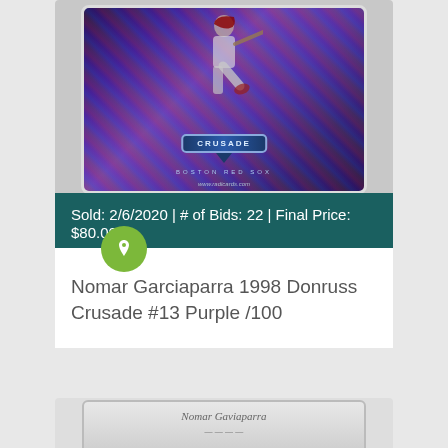[Figure (photo): Nomar Garciaparra 1998 Donruss Crusade #13 Purple /100 trading card in a protective case, showing a holographic/prismatic purple background with a baseball player batting, CRUSADE logo, and Boston Red Sox branding. Website www.radicards.com shown at bottom.]
Sold: 2/6/2020 | # of Bids: 22 | Final Price: $80.00
Nomar Garciaparra 1998 Donruss Crusade #13 Purple /100
[Figure (photo): Partial view of a second trading card, showing the back of a card with a signature visible, in a protective case.]